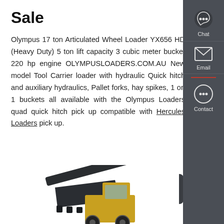Sale
Olympus 17 ton Articulated Wheel Loader YX656 HD (Heavy Duty) 5 ton lift capacity 3 cubic meter bucket 220 hp engine OLYMPUSLOADERS.COM.AU New model Tool Carrier loader with hydraulic Quick hitch and auxiliary hydraulics, Pallet forks, hay spikes, 1 on 1 buckets all available with the Olympus Loaders quad quick hitch pick up compatible with Hercules Loaders pick up.
Get a Quote
[Figure (photo): Partial view of an Olympus articulated wheel loader with a dark-colored bucket/attachment, visible at the bottom of the page]
[Figure (infographic): Sidebar contact widget with Chat (speech bubble icon), Email (envelope icon), and Contact (speech bubble icon) options on a dark gray background]